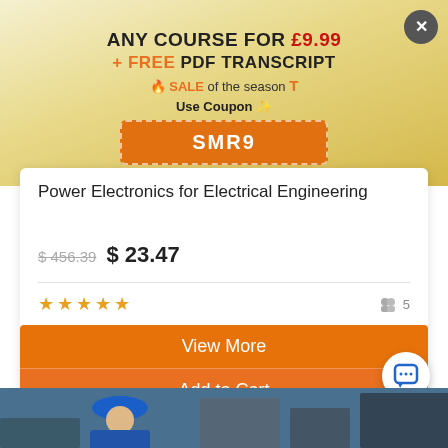ANY COURSE FOR £9.99
+ FREE PDF TRANSCRIPT
🔥 SALE of the season T
Use Coupon 🌟
SMR9
Power Electronics for Electrical Engineering
$ 456.39  $ 23.47
⭐⭐⭐⭐⭐  👥5
View More
Add to Cart